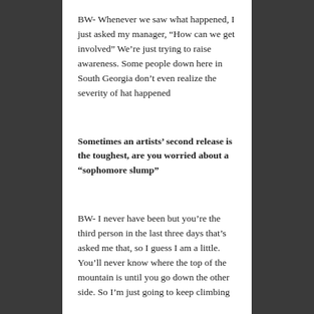BW- Whenever we saw what happened, I just asked my manager, “How can we get involved” We’re just trying to raise awareness. Some people down here in South Georgia don’t even realize the severity of hat happened
Sometimes an artists’ second release is the toughest, are you worried about a “sophomore slump”
BW- I never have been but you’re the third person in the last three days that’s asked me that, so I guess I am a little. You’ll never know where the top of the mountain is until you go down the other side. So I’m just going to keep climbing